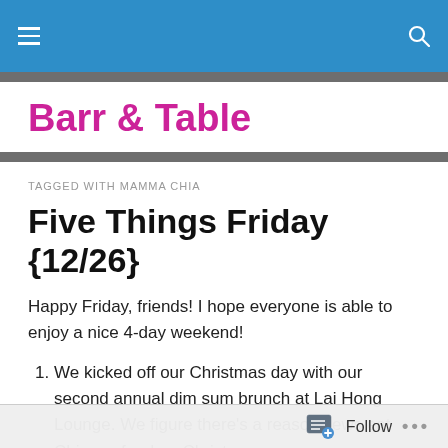Barr & Table — navigation bar with hamburger menu and search icon
Barr & Table
TAGGED WITH MAMMA CHIA
Five Things Friday {12/26}
Happy Friday, friends! I hope everyone is able to enjoy a nice 4-day weekend!
We kicked off our Christmas day with our second annual dim sum brunch at Lai Hong Lounge. We figure there's a reason Jews eat Chinese food on Christmas,